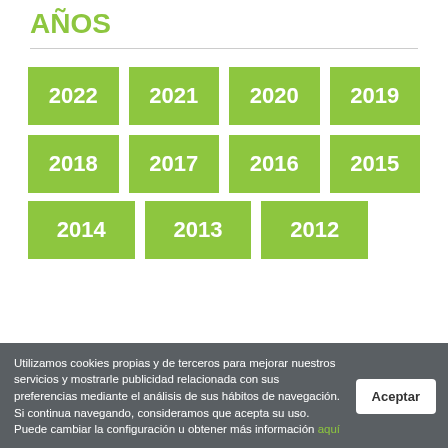AÑOS
[Figure (infographic): Grid of year buttons: 2022, 2021, 2020, 2019, 2018, 2017, 2016, 2015, 2014, 2013, 2012 — each displayed as a green (lime) rectangular button with white bold text]
Utilizamos cookies propias y de terceros para mejorar nuestros servicios y mostrarle publicidad relacionada con sus preferencias mediante el análisis de sus hábitos de navegación. Si continua navegando, consideramos que acepta su uso. Puede cambiar la configuración u obtener más información aquí